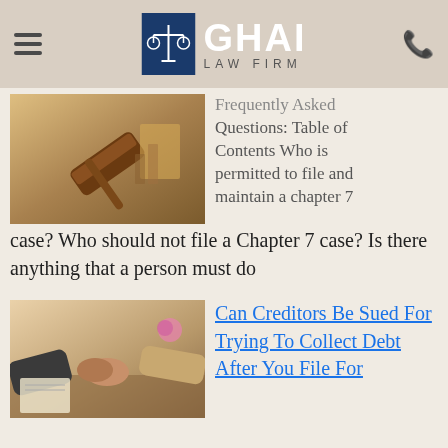GHAI LAW FIRM
[Figure (photo): Photo of a wooden gavel and scales of justice on a desk in a law office setting]
Frequently Asked Questions: Table of Contents Who is permitted to file and maintain a chapter 7 case? Who should not file a Chapter 7 case? Is there anything that a person must do
[Figure (photo): Photo of two people shaking hands across a desk with documents and items visible]
Can Creditors Be Sued For Trying To Collect Debt After You File For